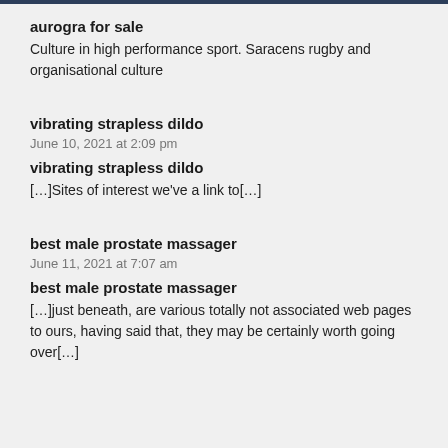aurogra for sale
Culture in high performance sport. Saracens rugby and organisational culture
vibrating strapless dildo
June 10, 2021 at 2:09 pm
vibrating strapless dildo
[…]Sites of interest we've a link to[…]
best male prostate massager
June 11, 2021 at 7:07 am
best male prostate massager
[…]just beneath, are various totally not associated web pages to ours, having said that, they may be certainly worth going over[…]